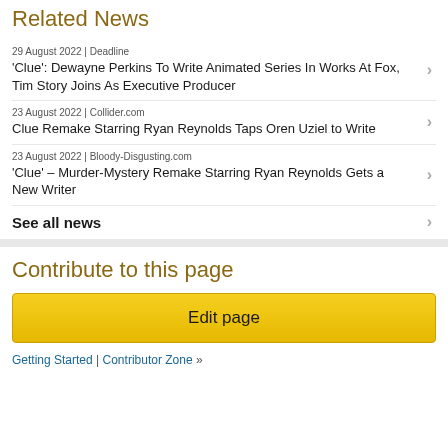Related News
29 August 2022 | Deadline
'Clue': Dewayne Perkins To Write Animated Series In Works At Fox, Tim Story Joins As Executive Producer
23 August 2022 | Collider.com
Clue Remake Starring Ryan Reynolds Taps Oren Uziel to Write
23 August 2022 | Bloody-Disgusting.com
'Clue' – Murder-Mystery Remake Starring Ryan Reynolds Gets a New Writer
See all news
Contribute to this page
Edit page
Getting Started | Contributor Zone »